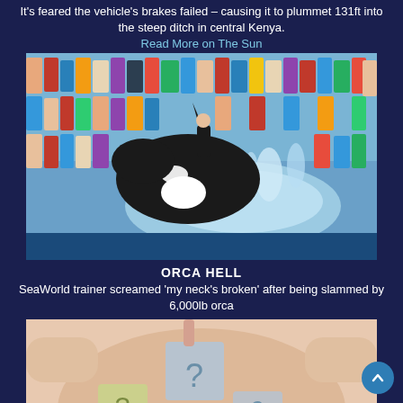It's feared the vehicle's brakes failed – causing it to plummet 131ft into the steep ditch in central Kenya. Read More on The Sun
[Figure (photo): An orca whale leaping out of the water at a SeaWorld-style show, with a trainer on its back and a large crowd of spectators in the background.]
ORCA HELL
SeaWorld trainer screamed 'my neck's broken' after being slammed by 6,000lb orca
[Figure (photo): A pregnant woman's belly with question mark cards placed on it, suggesting an unknown baby gender reveal.]